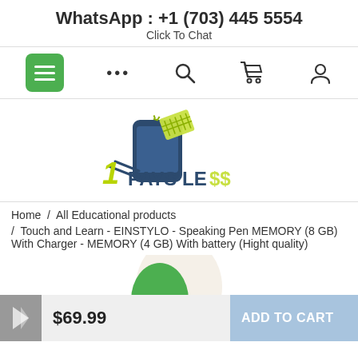WhatsApp : +1 (703) 445 5554
Click To Chat
[Figure (screenshot): Navigation bar with green hamburger menu button, ellipsis dots, search icon, cart icon, and user icon]
[Figure (logo): 1PaySLess logo with shopping cart on smartphone icon and yellow-green text]
Home / All Educational products
/ Touch and Learn - EINSTYLO - Speaking Pen MEMORY (8 GB) With Charger - MEMORY (4 GB) With battery (Hight quality)
[Figure (photo): Partial product image of what appears to be a speaking pen device in green and beige colors]
$69.99
ADD TO CART